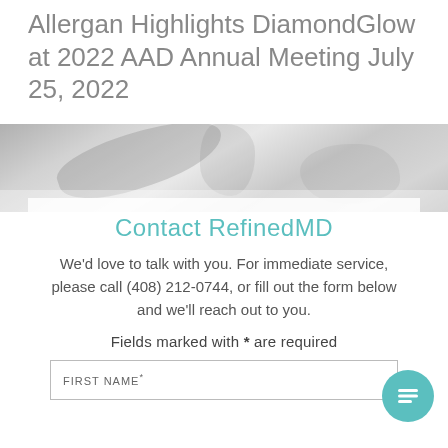Allergan Highlights DiamondGlow at 2022 AAD Annual Meeting July 25, 2022
[Figure (photo): Light gray abstract texture background image, resembling stone or marble in grayscale]
Contact RefinedMD
We'd love to talk with you. For immediate service, please call (408) 212-0744, or fill out the form below and we'll reach out to you.
Fields marked with * are required
FIRST NAME*